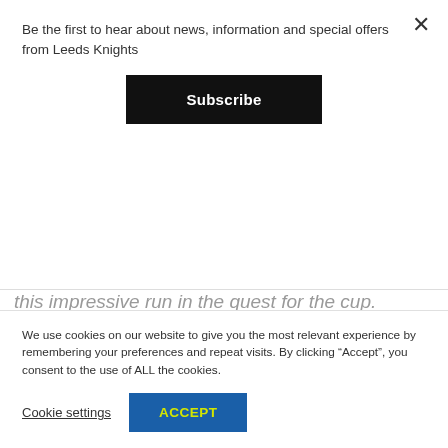Be the first to hear about news, information and special offers from Leeds Knights
Subscribe
this impressive run in the quest for the cup.
Although difficulties have been faced in recent games, we have seen several young British players gain some tremendous experience at this level and make their debut for us
We use cookies on our website to give you the most relevant experience by remembering your preferences and repeat visits. By clicking “Accept”, you consent to the use of ALL the cookies.
Cookie settings
ACCEPT